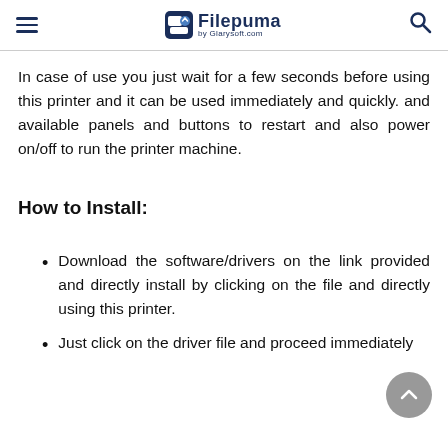Filepuma by Glarysoft.com
In case of use you just wait for a few seconds before using this printer and it can be used immediately and quickly. and available panels and buttons to restart and also power on/off to run the printer machine.
How to Install:
Download the software/drivers on the link provided and directly install by clicking on the file and directly using this printer.
Just click on the driver file and proceed immediately